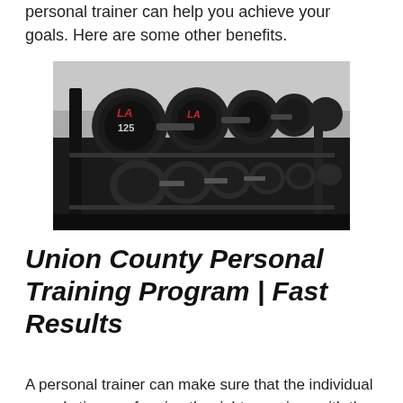personal trainer can help you achieve your goals. Here are some other benefits.
[Figure (photo): A rack of heavy black dumbbells in a gym, with the largest weights labeled 125 lbs in the front, arranged in descending size order along the rack.]
Union County Personal Training Program | Fast Results
A personal trainer can make sure that the individual spends time performing the right exercises with the proper...